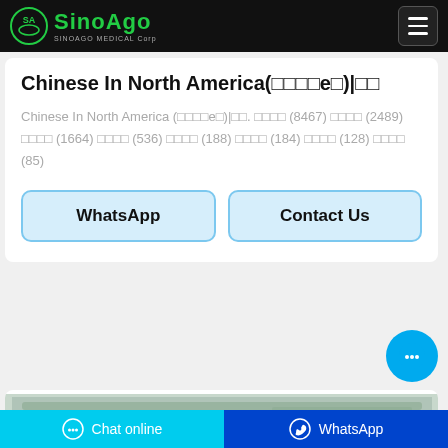SinoAgo MEDICAL Corp
Chinese In North America(□□□□e□)|□□
Chinese In North America (□□□□e□)|□□. □□□□ (8467) □□□□ (2489) □□□□ (1664) □□□□ (536) □□□□ (188) □□□□ (184) □□□□ (128) □□□□ (85)
[Figure (other): WhatsApp button]
[Figure (other): Contact Us button]
[Figure (photo): Industrial ceiling photo strip]
Chat online | WhatsApp